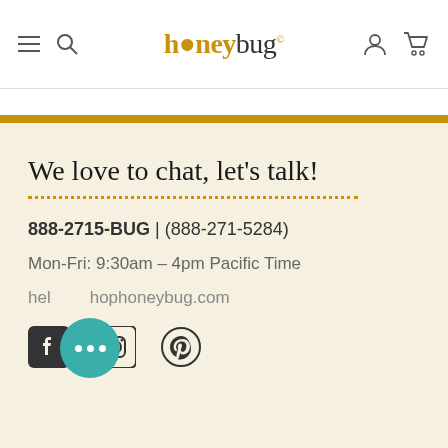honeybug
We love to chat, let's talk!
888-2715-BUG | (888-271-5284)
Mon-Fri: 9:30am – 4pm Pacific Time
hello@shophoneybug.com
[Figure (illustration): Social media icons: Facebook, Instagram, Pinterest; chat bubble widget overlay]